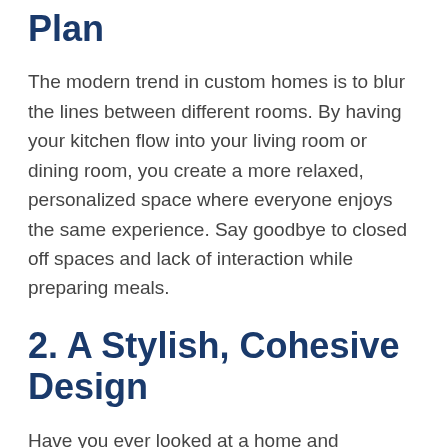Plan
The modern trend in custom homes is to blur the lines between different rooms. By having your kitchen flow into your living room or dining room, you create a more relaxed, personalized space where everyone enjoys the same experience. Say goodbye to closed off spaces and lack of interaction while preparing meals.
2. A Stylish, Cohesive Design
Have you ever looked at a home and wondered if two different people designed it? With a custom home, you shouldn't have that problem. Everything should look stylish,